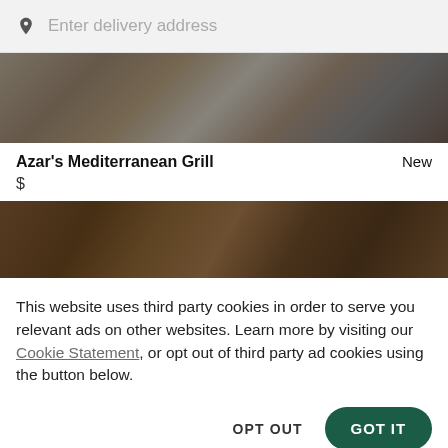Enter delivery address
[Figure (photo): Overhead view of Mediterranean food dishes on plates, darkened with overlay]
Azar's Mediterranean Grill   New
$
[Figure (photo): Overhead view of Mediterranean food platters on wooden table, darkened with overlay]
This website uses third party cookies in order to serve you relevant ads on other websites. Learn more by visiting our Cookie Statement, or opt out of third party ad cookies using the button below.
OPT OUT
GOT IT